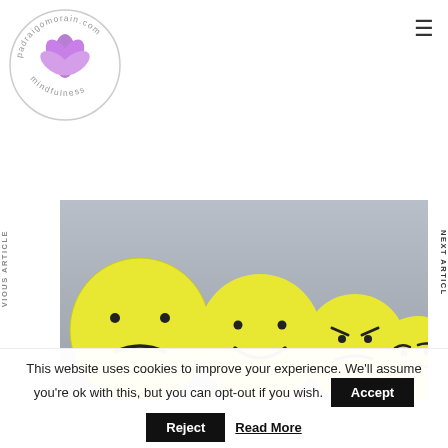[Figure (logo): Circular logo with purple lotus flower and text 'padraigomorain.com mindfulness' around the border]
≡
VIOUS ARTICLE
NEXT ARTICL
[Figure (photo): Four yellow smiley face balloons showing different emotions: sad, happy, angry, and neutral/confused, on a grey background]
This website uses cookies to improve your experience. We'll assume you're ok with this, but you can opt-out if you wish.
Accept
Reject
Read More